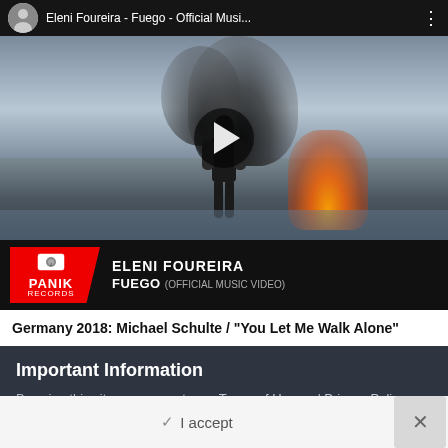[Figure (screenshot): YouTube video embed showing Eleni Foureira - Fuego - Official Music Video, with Panik Records branding bar at bottom. Video thumbnail shows a figure on a reflective surface with fire and smoke. Play button overlay visible.]
Germany 2018: Michael Schulte / "You Let Me Walk Alone"
Important Information
By using this site, you agree to our Terms of Use and Privacy Policy
✓ I accept